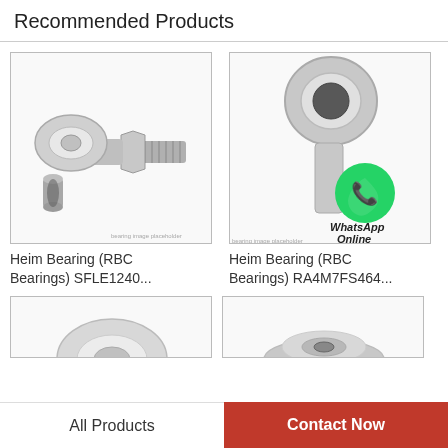Recommended Products
[Figure (photo): Heim rod end bearing with threaded shank, stainless steel, angled view]
[Figure (photo): Heim rod end bearing with WhatsApp Online badge overlay, stainless steel]
Heim Bearing (RBC Bearings) SFLE1240...
Heim Bearing (RBC Bearings) RA4M7FS464...
[Figure (photo): Partial view of a ball bearing, bottom left product card]
[Figure (photo): Partial view of a flanged bearing, bottom right product card]
All Products
Contact Now